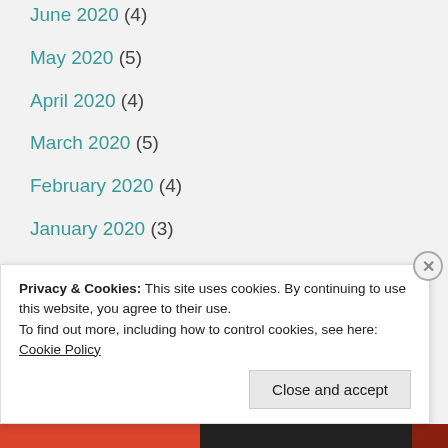June 2020 (4)
May 2020 (5)
April 2020 (4)
March 2020 (5)
February 2020 (4)
January 2020 (3)
December 2019 (6)
November 2019 (8)
October 2019 (11)
September 2019 (7)
Privacy & Cookies: This site uses cookies. By continuing to use this website, you agree to their use. To find out more, including how to control cookies, see here: Cookie Policy
Close and accept